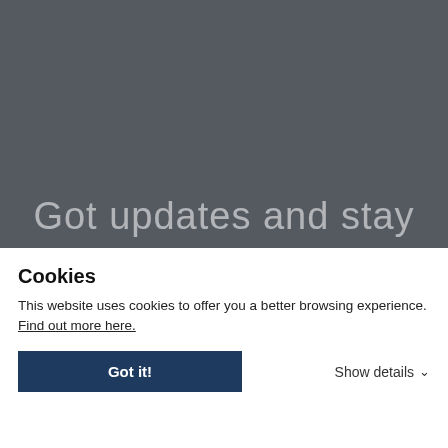[Figure (screenshot): Dark grey banner background with partially visible text 'Got updates and stay' in large light grey semi-transparent font]
Cookies
This website uses cookies to offer you a better browsing experience. Find out more here.
Got it!
Show details